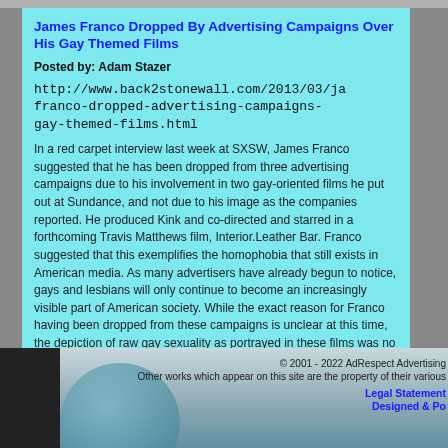James Franco Dropped By Advertising Campaigns Over His Gay Themed Films
Posted by: Adam Stazer
http://www.back2stonewall.com/2013/03/james-franco-dropped-advertising-campaigns-gay-themed-films.html
In a red carpet interview last week at SXSW, James Franco suggested that he has been dropped from three advertising campaigns due to his involvement in two gay-oriented films he put out at Sundance, and not due to his image as the companies reported. He produced Kink and co-directed and starred in a forthcoming Travis Matthews film, Interior.Leather Bar. Franco suggested that this exemplifies the homophobia that still exists in American media. As many advertisers have already begun to notice, gays and lesbians will only continue to become an increasingly visible part of American society. While the exact reason for Franco having been dropped from these campaigns is unclear at this time, the depiction of raw gay sexuality as portrayed in these films was no doubt part of the conversation. Other explicit films depicting heterosexual sex rarely if ever raise an eyebrow among the public, and neither should these.
© 2001 - 2022 AdRespect Advertising Institute. Other works which appear on this site are the property of their various owners. Legal Statement Designed & Po...